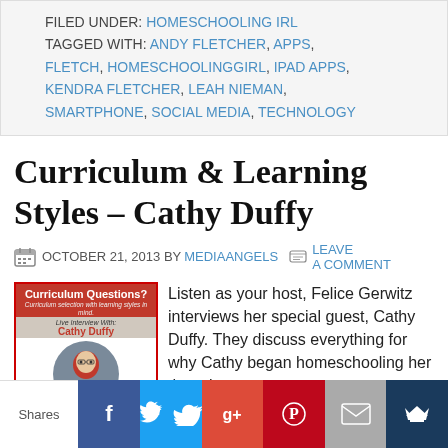FILED UNDER: HOMESCHOOLING IRL
TAGGED WITH: ANDY FLETCHER, APPS, FLETCH, HOMESCHOOLINGGIRL, IPAD APPS, KENDRA FLETCHER, LEAH NIEMAN, SMARTPHONE, SOCIAL MEDIA, TECHNOLOGY
Curriculum & Learning Styles – Cathy Duffy
OCTOBER 21, 2013 BY MEDIAANGELS  LEAVE A COMMENT
[Figure (photo): Book cover: Curriculum Questions? with Cathy Duffy photo]
Listen as your host, Felice Gerwitz interviews her special guest, Cathy Duffy. They discuss everything for why Cathy began homeschooling her three boys,
Shares  [Facebook] [Twitter] [Google+] [Pinterest] [Email] [Bookmark]